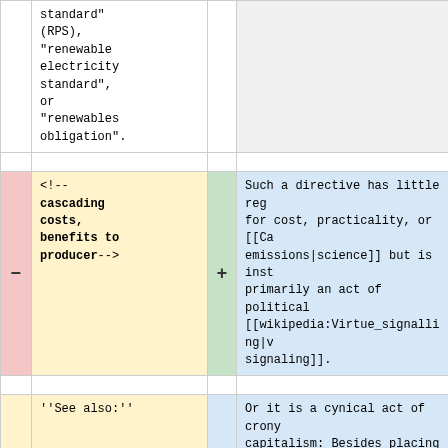standard" (RPS), "renewable electricity standard", or "renewables obligation".
<!-- cascading costs, benefits to producer-->
Such a directive has little reg for cost, practicality, or [[Ca emissions|science]] but is inst primarily an act of political [[wikipedia:Virtue_signalling|v signaling]].
''See also:''
Or it is a cynical act of crony capitalism: Besides placing bur on utilities and ratepayers, an serves to create an obligatory